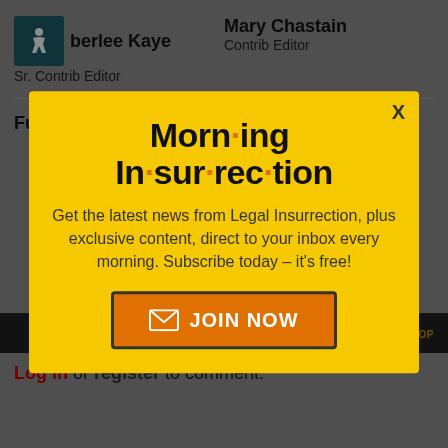berlee Kaye — Sr. Contrib Editor
Mary Chastain — Contrib Editor
Fuzzy Slippers
Mike LaChance
[Figure (infographic): Morning Insurrection newsletter signup modal popup with yellow background, bold title 'Morn·ing In·sur·rec·tion', body text 'Get the latest news from Legal Insurrection, plus exclusive content, direct to your inbox every morning. Subscribe today – it's free!', and orange JOIN NOW button with envelope icon. X close button in top right.]
Log in or register to comment.